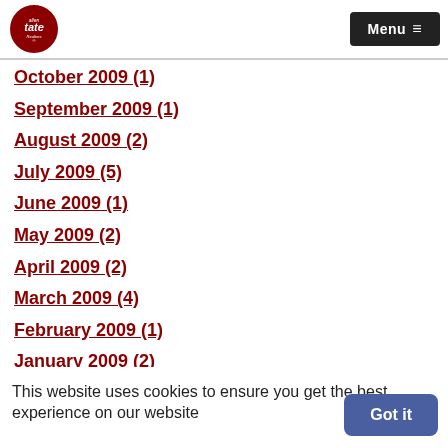allen tate Realtors | Menu
October 2009 (1)
September 2009 (1)
August 2009 (2)
July 2009 (5)
June 2009 (1)
May 2009 (2)
April 2009 (2)
March 2009 (4)
February 2009 (1)
January 2009 (2)
December 2008 (faded/obscured)
September 2008 (2)
This website uses cookies to ensure you get the best experience on our website
Got it